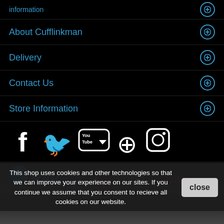information
About Cufflinkman
Delivery
Contact Us
Store Information
[Figure (illustration): Social media icons: Facebook, Twitter, YouTube, Pinterest, Instagram]
[Figure (logo): PayPal and Worldpay payment logos]
This shop uses cookies and other technologies so that we can improve your experience on our sites. If you continue we assume that you consent to recieve all cookies on our website.